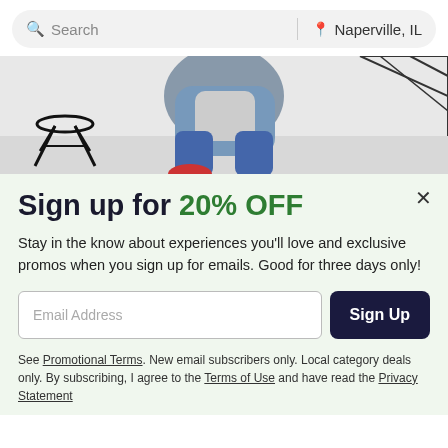Search | Naperville, IL
[Figure (photo): Two people sitting casually, wearing jeans and denim jackets, with a stool visible on the left and a geometric shelf on the right]
Sign up for 20% OFF
Stay in the know about experiences you'll love and exclusive promos when you sign up for emails. Good for three days only!
Email Address
Sign Up
See Promotional Terms. New email subscribers only. Local category deals only. By subscribing, I agree to the Terms of Use and have read the Privacy Statement